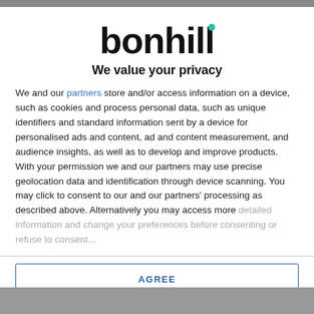[Figure (logo): Bonhill logo with teal dot above the second 'l']
We value your privacy
We and our partners store and/or access information on a device, such as cookies and process personal data, such as unique identifiers and standard information sent by a device for personalised ads and content, ad and content measurement, and audience insights, as well as to develop and improve products. With your permission we and our partners may use precise geolocation data and identification through device scanning. You may click to consent to our and our partners' processing as described above. Alternatively you may access more detailed information and change...
AGREE
MORE OPTIONS